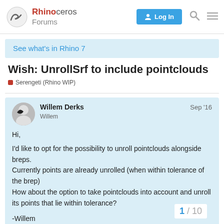Rhinoceros Forums — Log In
See what's in Rhino 7
Wish: UnrollSrf to include pointclouds
Serengeti (Rhino WIP)
Willem Derks
Willem
Sep '16
Hi,

I'd like to opt for the possibility to unroll pointclouds alongside breps.
Currently points are already unrolled (when within tolerance of the brep)
How about the option to take pointclouds into account and unroll its points that lie within tolerance?

-Willem
1 / 10